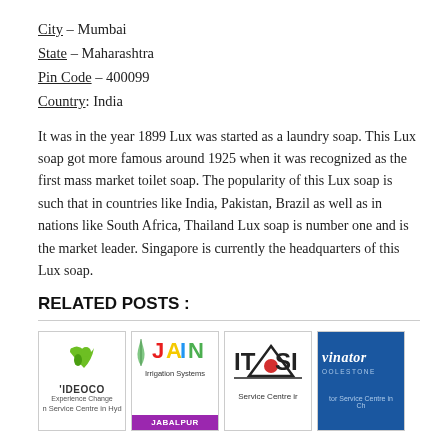City – Mumbai
State – Maharashtra
Pin Code – 400099
Country: India
It was in the year 1899 Lux was started as a laundry soap. This Lux soap got more famous around 1925 when it was recognized as the first mass market toilet soap. The popularity of this Lux soap is such that in countries like India, Pakistan, Brazil as well as in nations like South Africa, Thailand Lux soap is number one and is the market leader. Singapore is currently the headquarters of this Lux soap.
RELATED POSTS :
[Figure (logo): VIDEOCO logo with green icon, 'Experience Change' tagline, 'n Service Centre in Hyd' text]
[Figure (logo): JAIN Irrigation Systems JABALPUR logo with colorful text and purple footer]
[Figure (logo): ITASI Service Centre logo with red circle and triangle]
[Figure (logo): Kelvinator/Coolstone blue background logo with 'tor Service Centre in Ch' text]